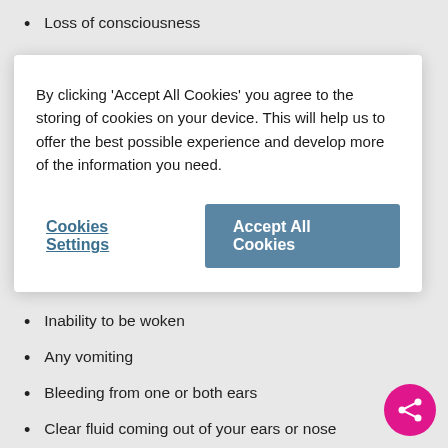Loss of consciousness
By clicking 'Accept All Cookies' you agree to the storing of cookies on your device. This will help us to offer the best possible experience and develop more of the information you need.
Inability to be woken
Any vomiting
Bleeding from one or both ears
Clear fluid coming out of your ears or nose
Any fits (collapsing or passing out suddenly)
Drowsiness when you would normally be wide awake
Severe headache not relieved by painkillers such as